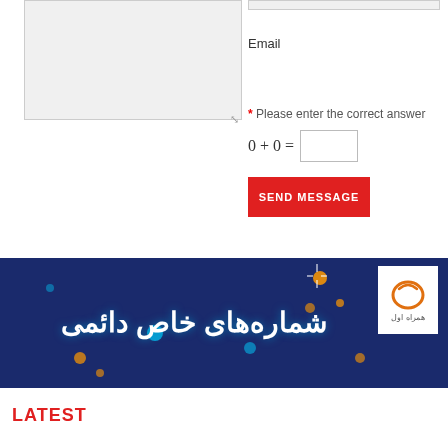[Figure (screenshot): Textarea input box for message (left side of form)]
Email
[Figure (screenshot): Email input field (right side of form)]
* Please enter the correct answer
0 + 0 =
SEND MESSAGE
[Figure (illustration): Banner with dark blue background and Farsi text reading 'شماره های خاص دائمی' with decorative dots/sparkles and a white logo box in top right corner with circular logo and Persian text]
LATEST